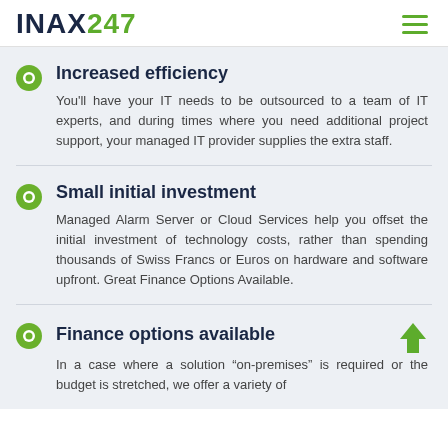INAX247
Increased efficiency
You'll have your IT needs to be outsourced to a team of IT experts, and during times where you need additional project support, your managed IT provider supplies the extra staff.
Small initial investment
Managed Alarm Server or Cloud Services help you offset the initial investment of technology costs, rather than spending thousands of Swiss Francs or Euros on hardware and software upfront. Great Finance Options Available.
Finance options available
In a case where a solution “on-premises” is required or the budget is stretched, we offer a variety of